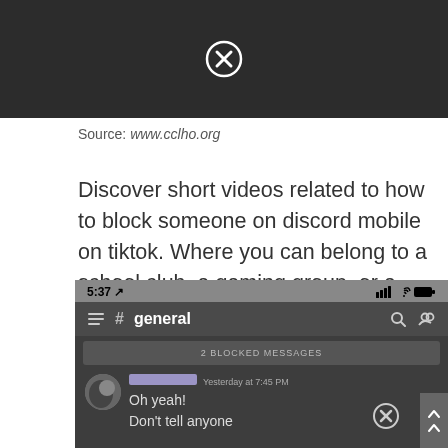[Figure (screenshot): Dark screenshot with a close/cancel button (X in circle) centered at the top]
Source: www.cclho.org
Discover short videos related to how to block someone on discord mobile on tiktok. Where you can belong to a school club, a gaming group, or a worldwide art community.
[Figure (screenshot): Discord mobile app screenshot showing #general channel with '2 BLOCKED MESSAGES' bar and a chat message saying 'Oh yeah! Don't tell anyone' with close button, status bar showing 5:37]